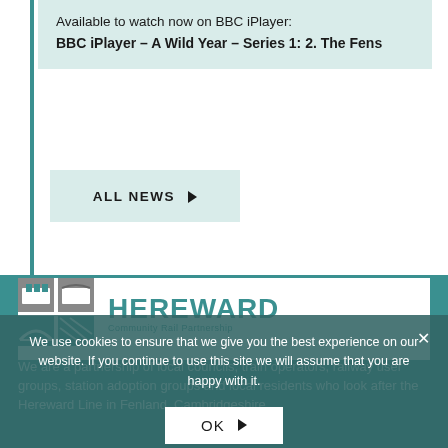Available to watch now on BBC iPlayer:
BBC iPlayer – A Wild Year – Series 1: 2. The Fens
ALL NEWS ▶
[Figure (logo): Hereward Community Rail Partnership logo with train/bridge icon and teal text]
We are a partnership of local councils, train operators, railway user groups, station adoption groups and local residents who look after the Hereward Line in Fenland, Cambridgeshire.
We use cookies to ensure that we give you the best experience on our website. If you continue to use this site we will assume that you are happy with it.
OK ▶